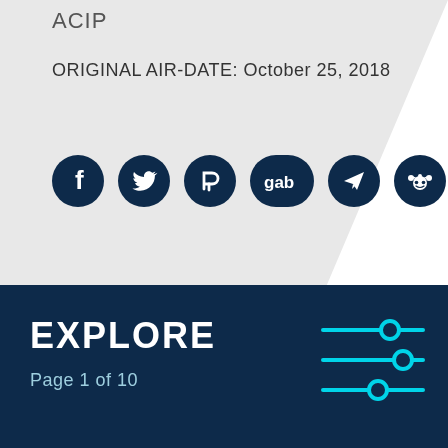ACIP
ORIGINAL AIR-DATE: October 25, 2018
[Figure (illustration): Row of social media share icons: Facebook, Twitter, Parler, Gab, Telegram, Reddit, WhatsApp — dark navy circular buttons]
EXPLORE
Page 1 of 10
[Figure (illustration): Cyan filter/settings sliders icon — three horizontal lines with circular handles]